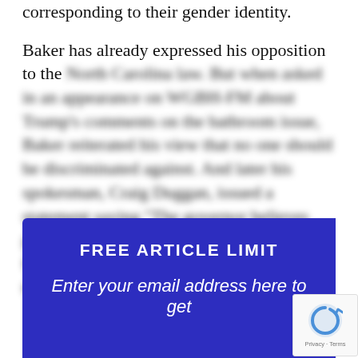corresponding to their gender identity.
Baker has already expressed his opposition to the [blurred text about North Carolina law, appearance on WGBH-FM about Trump's comments on the bathroom issue. Baker reiterated his view that no one should be discriminated against. And later his spokesman, Craig Duggan, issued a statement saying 'The governor believes people should use the restroom facility they feel comfortable using, which went further than he has in the past on the issue.']
FREE ARTICLE LIMIT
Enter your email address here to get